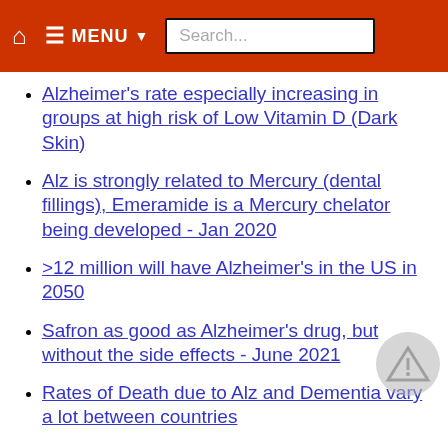MENU Search...
Alzheimer's rate especially increasing in groups at high risk of Low Vitamin D (Dark Skin)
Alz is strongly related to Mercury (dental fillings), Emeramide is a Mercury chelator being developed - Jan 2020
>12 million will have Alzheimer's in the US in 2050
Safron as good as Alzheimer's drug, but without the side effects - June 2021
Rates of Death due to Alz and Dementia vary a lot between countries
Daily multivitamin slowed cognitive decline